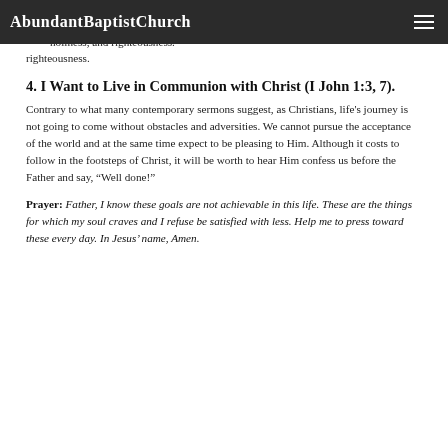AbundantBaptistChurch
they relate matters to be more like Jesus. Commitment as well as love, tenderness, and thoughtfulness; in zeal, dedication, and devotion; in purity, holiness, and righteousness.
4. I Want to Live in Communion with Christ (I John 1:3, 7).
Contrary to what many contemporary sermons suggest, as Christians, life's journey is not going to come without obstacles and adversities. We cannot pursue the acceptance of the world and at the same time expect to be pleasing to Him. Although it costs to follow in the footsteps of Christ, it will be worth to hear Him confess us before the Father and say, “Well done!”
Prayer: Father, I know these goals are not achievable in this life. These are the things for which my soul craves and I refuse be satisfied with less. Help me to press toward these every day. In Jesus’ name, Amen.